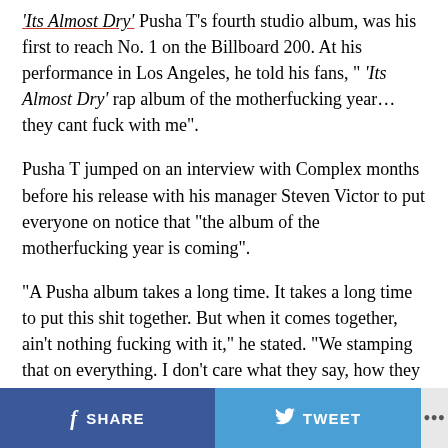'Its Almost Dry' Pusha T's fourth studio album, was his first to reach No. 1 on the Billboard 200. At his performance in Los Angeles, he told his fans, " 'Its Almost Dry' rap album of the motherfucking year... they cant fuck with me".
Pusha T jumped on an interview with Complex months before his release with his manager Steven Victor to put everyone on notice that "the album of the motherfucking year is coming".
"A Pusha album takes a long time. It takes a long time to put this shit together. But when it comes together, ain't nothing fucking with it," he stated. "We stamping that on everything. I don't care what they say, how they act. I don't care how viral they go, none of that. Nothing is fucking with it".
SHARE  TWEET  ...